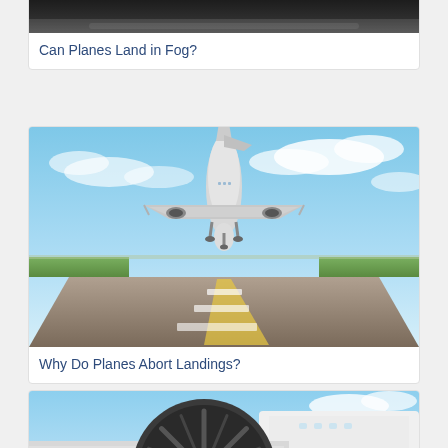[Figure (photo): Bottom portion of a photo showing foggy airport scene, dark tones]
Can Planes Land in Fog?
[Figure (photo): Airplane taking off or landing on a runway, viewed from ground level, blue sky with clouds]
Why Do Planes Abort Landings?
[Figure (photo): Close-up of a jet engine turbine with blue sky and plane fuselage in background]